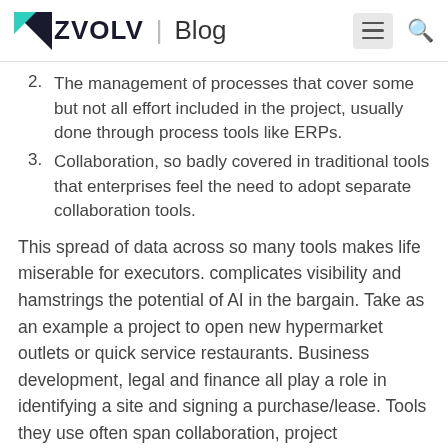ZVOLV | Blog
2. The management of processes that cover some but not all effort included in the project, usually done through process tools like ERPs.
3. Collaboration, so badly covered in traditional tools that enterprises feel the need to adopt separate collaboration tools.
This spread of data across so many tools makes life miserable for executors. complicates visibility and hamstrings the potential of AI in the bargain. Take as an example a project to open new hypermarket outlets or quick service restaurants. Business development, legal and finance all play a role in identifying a site and signing a purchase/lease. Tools they use often span collaboration, project management, document management, financial models, from ERPs and